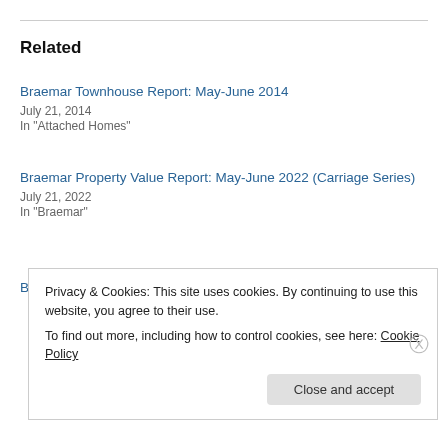Related
Braemar Townhouse Report: May-June 2014
July 21, 2014
In "Attached Homes"
Braemar Property Value Report: May-June 2022 (Carriage Series)
July 21, 2022
In "Braemar"
Braemar Property Value Report: May-June 2022 (Heritage Series)
Privacy & Cookies: This site uses cookies. By continuing to use this website, you agree to their use.
To find out more, including how to control cookies, see here: Cookie Policy